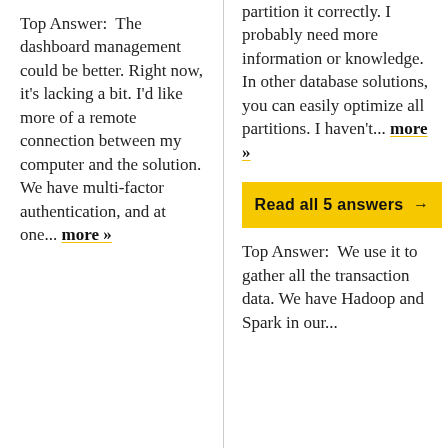Top Answer:  The dashboard management could be better. Right now, it's lacking a bit. I'd like more of a remote connection between my computer and the solution. We have multi-factor authentication, and at one... more »
partition it correctly. I probably need more information or knowledge. In other database solutions, you can easily optimize all partitions. I haven't... more »
Read all 5 answers →
Top Answer:  We use it to gather all the transaction data. We have Hadoop and Spark in our...